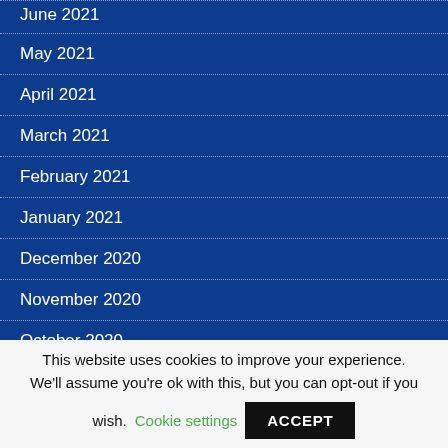June 2021
May 2021
April 2021
March 2021
February 2021
January 2021
December 2020
November 2020
October 2020
September 2020
August 2020
This website uses cookies to improve your experience. We'll assume you're ok with this, but you can opt-out if you wish.
Cookie settings
ACCEPT